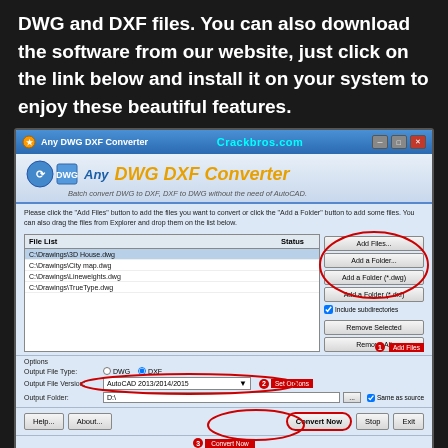DWG and DXF files. You can also download the software from our website, just click on the link below and install it on your system to enjoy these beautiful features.
[Figure (screenshot): Screenshot of Any DWG DXF Converter software interface showing file list with C:\Drawings files, buttons for Add Files, Add a Folder, output options, and Convert Now button. Red circle annotations highlight Add Files buttons and Set Options area. Crackbros.com watermark in title bar.]